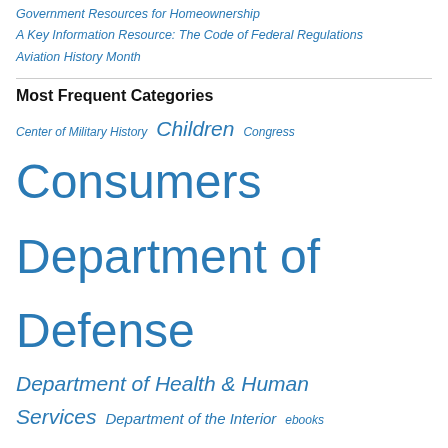Government Resources for Homeownership
A Key Information Resource: The Code of Federal Regulations
Aviation History Month
Most Frequent Categories
Center of Military History  Children  Congress  Consumers  Department of Defense  Department of Health & Human Services  Department of the Interior  ebooks  Family  Government Printing Office (GPO)  Health care  Libraries  Military History  NASA  National Park Service  Travel and Tourism  U.S. Army  U.S. History  U.S. Navy
Most Frequent Tags